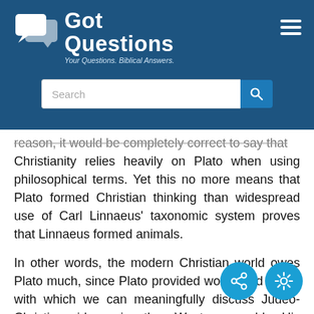[Figure (logo): GotQuestions.org logo with speech bubble icons, white text on blue background, tagline: Your Questions. Biblical Answers.]
reason, it would be completely correct to say that Christianity relies heavily on Plato when using philosophical terms. Yet this no more means that Plato formed Christian thinking than widespread use of Carl Linnaeus' taxonomic system proves that Linnaeus formed animals.
In other words, the modern Christian world owes Plato much, since Plato provided words and topics with which we can meaningfully discuss Judeo-Christian ideas in the Western world. His methodology is, in fact, something virtually all Christians have adopted in that